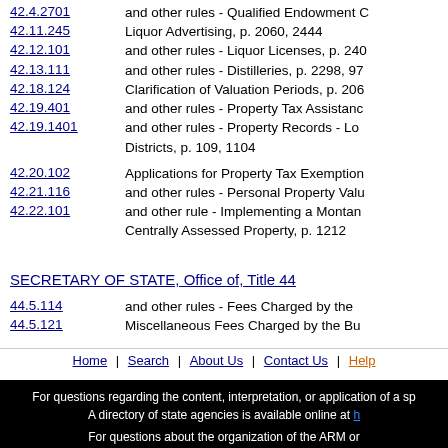42.4.2701 and other rules - Qualified Endowment C
42.11.245 Liquor Advertising, p. 2060, 2444
42.12.101 and other rules - Liquor Licenses, p. 240
42.13.111 and other rules - Distilleries, p. 2298, 97
42.18.124 Clarification of Valuation Periods, p. 206
42.19.401 and other rules - Property Tax Assistanc
42.19.1401 and other rules - Property Records - Lo Districts, p. 109, 1104
42.20.102 Applications for Property Tax Exemption
42.21.116 and other rules - Personal Property Valu
42.22.101 and other rule - Implementing a Montan Centrally Assessed Property, p. 1212
SECRETARY OF STATE, Office of, Title 44
44.5.114 and other rules - Fees Charged by the
44.5.121 Miscellaneous Fees Charged by the Bu
Home | Search | About Us | Contact Us | Help
For questions regarding the content, interpretation, or application of a sp A directory of state agencies is available online at h For questions about the organization of the ARM or